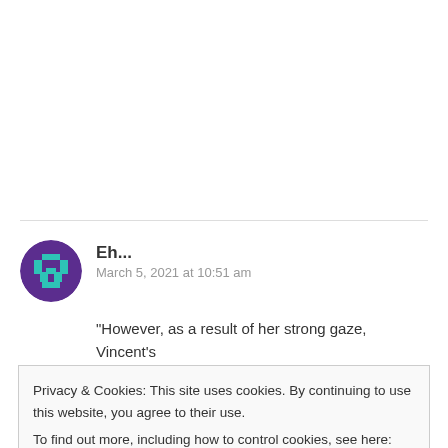Eh...
March 5, 2021 at 10:51 am
“However, as a result of her strong gaze, Vincent's
Privacy & Cookies: This site uses cookies. By continuing to use this website, you agree to their use.
To find out more, including how to control cookies, see here: Cookie Policy
Close and accept
No, that is not playful, that is what they call